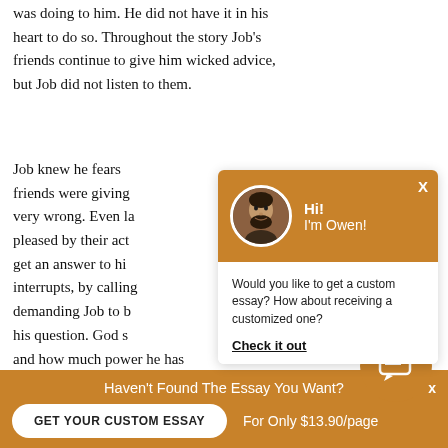was doing to him. He did not have it in his heart to do so. Throughout the story Job's friends continue to give him wicked advice, but Job did not listen to them.
Job knew he fears of God and knew his friends were giving him advice that was very wrong. Even later, God said he was not pleased by their actions. Job continued to get an answer to his questions. Job interrupts, by calling God out of heaven, demanding Job to be brought before him and his question. God showed Job how large and how much power he has alone. God
[Figure (screenshot): Chat widget overlay with orange header showing avatar photo of a man with beard, greeting 'Hi! I'm Owen!', and body text 'Would you like to get a custom essay? How about receiving a customized one?' with 'Check it out' link.]
[Figure (screenshot): Orange circular chat bubble button with message icon.]
Haven't Found The Essay You Want?
GET YOUR CUSTOM ESSAY
For Only $13.90/page